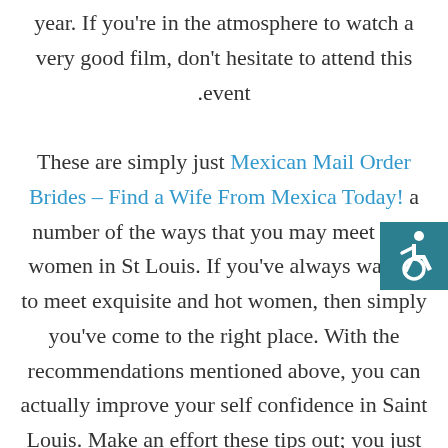year. If you're in the atmosphere to watch a very good film, don't hesitate to attend this event. These are simply just Mexican Mail Order Brides – Find a Wife From Mexica Today! a number of the ways that you may meet sole women in St Louis. If you've always wanted to meet exquisite and hot women, then simply you've come to the right place. With the recommendations mentioned above, you can actually improve your self confidence in Saint Louis. Make an effort these tips out; you just
[Figure (illustration): Accessibility icon - white wheelchair symbol on teal/dark cyan background square, positioned at right edge]
[Figure (illustration): Scroll to top button - upward pointing chevron/arrow on gray background, positioned at right edge]